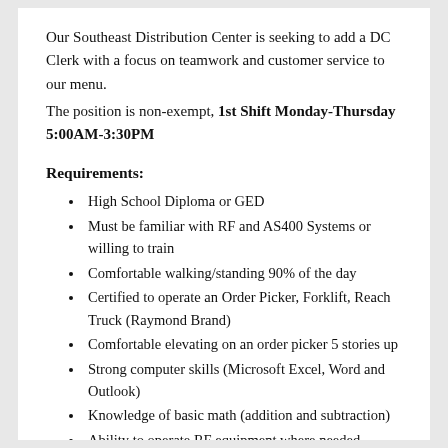Our Southeast Distribution Center is seeking to add a DC Clerk with a focus on teamwork and customer service to our menu.
The position is non-exempt, 1st Shift Monday-Thursday 5:00AM-3:30PM
Requirements:
High School Diploma or GED
Must be familiar with RF and AS400 Systems or willing to train
Comfortable walking/standing 90% of the day
Certified to operate an Order Picker, Forklift, Reach Truck (Raymond Brand)
Comfortable elevating on an order picker 5 stories up
Strong computer skills (Microsoft Excel, Word and Outlook)
Knowledge of basic math (addition and subtraction)
Ability to operate RF equipment where needed
Excellent communication skills (verbal and written)
Available to work overtime and flexible schedules